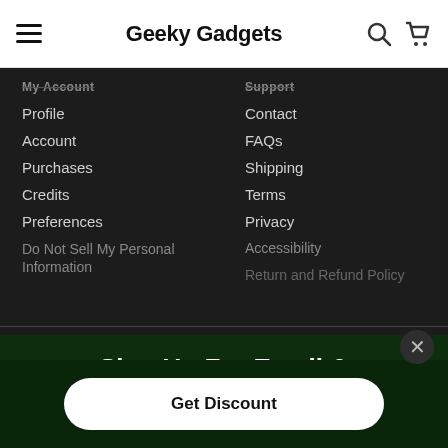Geeky Gadgets
My Account
Profile
Account
Purchases
Credits
Preferences
Do Not Sell My Personal Information
Support
Contact
FAQs
Shipping
Terms
Privacy
Accessibility
Return and Refund Policy
Are you a vendor?
Get exclusive coverage to the world's biggest tech deals through the StackCommerce network.
Sign Up For Email & Texts To Unlock 10% Off
Get Discount